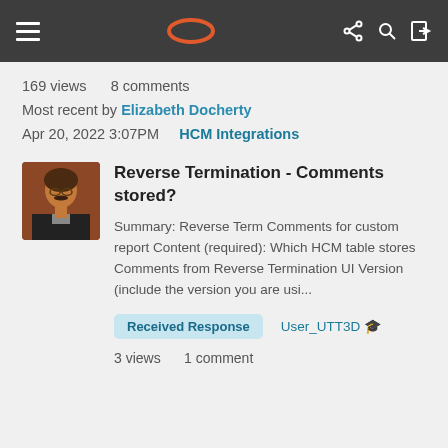Navigation bar with hamburger menu, Oracle logo, and icons
169 views   8 comments
Most recent by Elizabeth Docherty
Apr 20, 2022 3:07PM   HCM Integrations
Reverse Termination - Comments stored?
Summary: Reverse Term Comments for custom report Content (required): Which HCM table stores Comments from Reverse Termination UI Version (include the version you are usi...
Received Response   User_UTT3D
3 views   1 comment